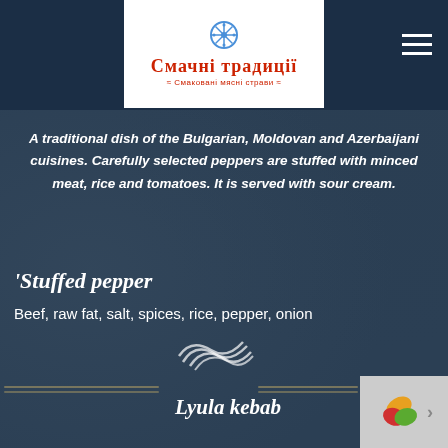[Figure (logo): Smachni Tradytsii brand logo with snowflake icon, red Cyrillic text on white background]
A traditional dish of the Bulgarian, Moldovan and Azerbaijani cuisines. Carefully selected peppers are stuffed with minced meat, rice and tomatoes. It is served with sour cream.
Stuffed pepper
Beef, raw fat, salt, spices, rice, pepper, onion
Lyula kebab
[Figure (logo): Small colorful leaf logo at bottom right with navigation arrow]